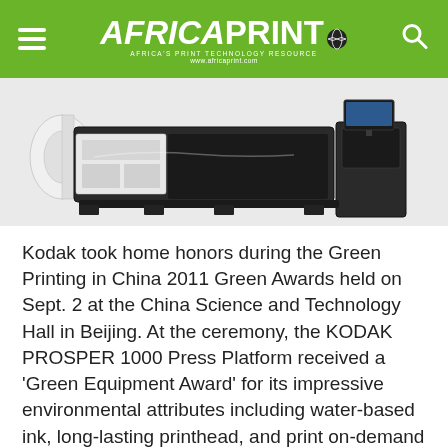Africa Print — www.africaprint.com
[Figure (photo): Photo of a large industrial inkjet/digital printing press (Kodak Prosper 1000) shown from the side, with paper roll on the left and control station on the right, on a white background.]
Kodak took home honors during the Green Printing in China 2011 Green Awards held on Sept. 2 at the China Science and Technology Hall in Beijing. At the ceremony, the KODAK PROSPER 1000 Press Platform received a 'Green Equipment Award' for its impressive environmental attributes including water-based ink, long-lasting printhead, and print on-demand option.
Sponsored by the largest printing technology research institute in China, the China Academy of Printing Technology, and the media group Kevin.cn,